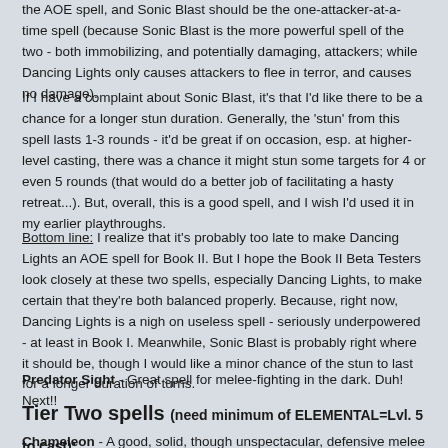the AOE spell, and Sonic Blast should be the one-attacker-at-a-time spell (because Sonic Blast is the more powerful spell of the two - both immobilizing, and potentially damaging, attackers; while Dancing Lights only causes attackers to flee in terror, and causes no damage).
If I have a complaint about Sonic Blast, it's that I'd like there to be a chance for a longer stun duration. Generally, the 'stun' from this spell lasts 1-3 rounds - it'd be great if on occasion, esp. at higher-level casting, there was a chance it might stun some targets for 4 or even 5 rounds (that would do a better job of facilitating a hasty retreat...). But, overall, this is a good spell, and I wish I'd used it in my earlier playthroughs.
Bottom line: I realize that it's probably too late to make Dancing Lights an AOE spell for Book II. But I hope the Book II Beta Testers look closely at these two spells, especially Dancing Lights, to make certain that they're both balanced properly. Because, right now, Dancing Lights is a nigh on useless spell - seriously underpowered - at least in Book I. Meanwhile, Sonic Blast is probably right where it should be, though I would like a minor chance of the stun to last for a longer duration of turns.
Predator Sight - Great spell for melee-fighting in the dark. Duh! Next!!
Tier Two spells (need minimum of ELEMENTAL=Lvl. 5 to cast):
Chameleon - A good, solid, though unspectacular, defensive melee